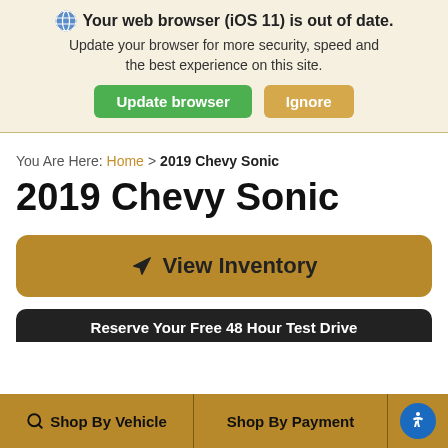[Figure (screenshot): Browser update notification banner with globe icon, bold heading 'Your web browser (iOS 11) is out of date.', subtitle text, and two buttons: green 'Update browser' and tan 'Ignore']
You Are Here: Home > 2019 Chevy Sonic
2019 Chevy Sonic
[Figure (other): Gold/tan rounded button with send icon and text 'View Inventory']
Reserve Your Free 48 Hour Test Drive
Shop By Vehicle  Shop By Payment  [Accessibility icon]